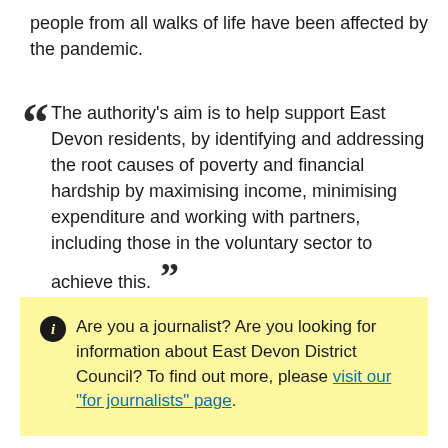people from all walks of life have been affected by the pandemic.
The authority's aim is to help support East Devon residents, by identifying and addressing the root causes of poverty and financial hardship by maximising income, minimising expenditure and working with partners, including those in the voluntary sector to achieve this.
Are you a journalist? Are you looking for information about East Devon District Council? To find out more, please visit our "for journalists" page.